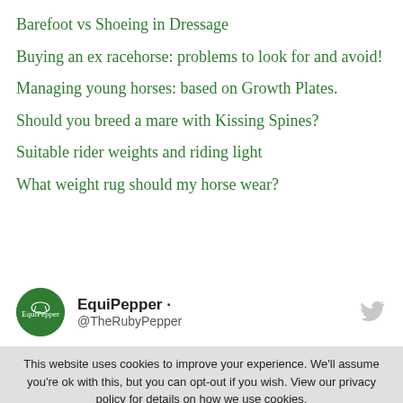Barefoot vs Shoeing in Dressage
Buying an ex racehorse: problems to look for and avoid!
Managing young horses: based on Growth Plates.
Should you breed a mare with Kissing Spines?
Suitable rider weights and riding light
What weight rug should my horse wear?
[Figure (other): EquiPepper Twitter profile block showing green circular logo, bold name 'EquiPepper', handle '@TheRubyPepper', and Twitter bird icon]
This website uses cookies to improve your experience. We'll assume you're ok with this, but you can opt-out if you wish. View our privacy policy for details on how we use cookies.
Accept All   Reject
Manage My Cookies   Privacy Policy